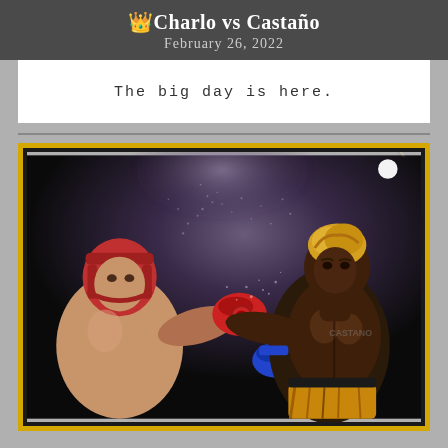👑 Charlo vs Castaño
February 26, 2022
The big day is here.
[Figure (photo): Boxing match photo showing two fighters exchanging punches. One fighter on the left wearing red headgear and red gloves, the other on the right with blonde hair wearing blue gloves and gold/tiger-print shorts, landing a body punch. Dark arena background with light spray/sweat visible.]